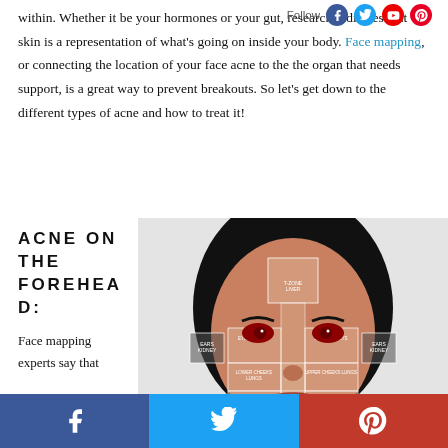within. Whether it be your hormones or your gut, research indicates that skin is a representation of what's going on inside your body. Face mapping, or connecting the location of your face acne to the the organ that needs support, is a great way to prevent breakouts. So let's get down to the different types of acne and how to treat it!
ACNE ON THE FOREHEAD:
[Figure (illustration): Face mapping diagram of a woman's face showing zones labeled: T-Zone Liver, Ears Kidney (both sides), Eyes Cheeks, Nose Heart, Eyes Kidneys, Lower Cheeks Lungs, Upper Cheeks Lungs, Lower Cheeks Mouth (both sides)]
Face mapping experts say that
Facebook share | Twitter share | Pinterest share